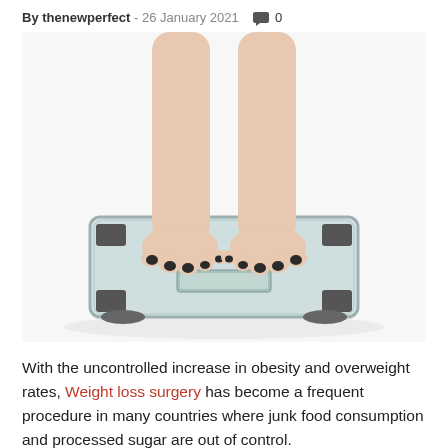By thenewperfect - 26 January 2021  💬 0
[Figure (photo): Person's bare feet with dark painted toenails standing on a clear glass bathroom scale, viewed from above, on a white background.]
With the uncontrolled increase in obesity and overweight rates, Weight loss surgery has become a frequent procedure in many countries where junk food consumption and processed sugar are out of control.